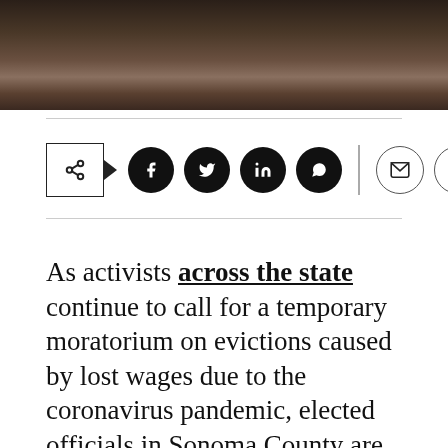[Figure (photo): Dark photographic image at top of page, appears to show a person or figure in dark tones]
[Figure (infographic): Social media share bar with share box, Facebook, Twitter, LinkedIn, WhatsApp buttons, plus email and print outline buttons]
As activists across the state continue to call for a temporary moratorium on evictions caused by lost wages due to the coronavirus pandemic, elected officials in Sonoma County are beginning to tackle the problem. In the North Bay, an as-yet-